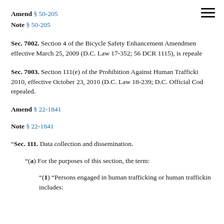Amend § 50-205
Note § 50-205
Sec. 7002. Section 4 of the Bicycle Safety Enhancement Amendment effective March 25, 2009 (D.C. Law 17-352; 56 DCR 1115), is repealed.
Sec. 7003. Section 111(e) of the Prohibition Against Human Trafficking 2010, effective October 23, 2010 (D.C. Law 18-239; D.C. Official Code repealed.
Amend § 22-1841
Note § 22-1841
"Sec. 111. Data collection and dissemination.
"(a) For the purposes of this section, the term:
"(1) "Persons engaged in human trafficking or human trafficking includes: